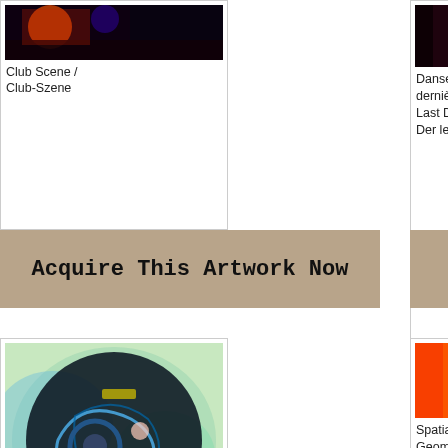[Figure (photo): Club scene artwork image, dark tones with colorful lights]
Club Scene / Club-Szene
[Figure (other): Acquire This Artwork Now button, tan/beige background]
[Figure (photo): Danse dernière / The Last Dance artwork image, dark tones]
Danse dernière / The Last Dance / Der letzte Tanz
[Figure (other): Acquire button partial, tan/beige background]
[Figure (illustration): Wheels Turn / Räder drehen sich artwork, colorful circular painting]
Wheels Turn / Räder drehen sich
[Figure (other): Acquire This Artwork Now button, tan/beige background]
[Figure (photo): Spatial Geometry artwork image, colorful geometric shapes]
Spatial Geometry
[Figure (other): Acquire button partial, tan/beige background]